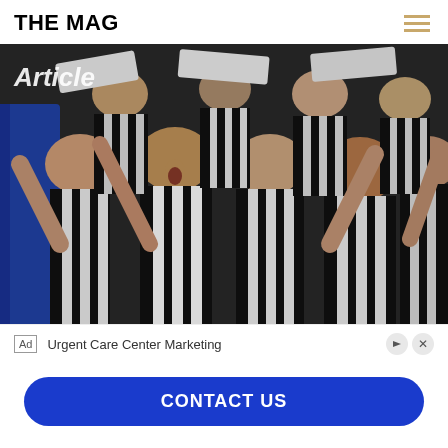THE MAG
[Figure (photo): Crowd of Newcastle United football fans in black and white striped jerseys cheering, with partially visible text 'Article' overlaid at top left]
Ad  Urgent Care Center Marketing
CONTACT US